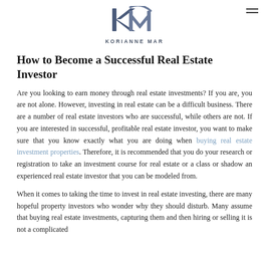[Figure (logo): KM Korianne Mar logo with stylized KM letters in blue-grey and text 'KORIANNE MAR' below]
How to Become a Successful Real Estate Investor
Are you looking to earn money through real estate investments? If you are, you are not alone. However, investing in real estate can be a difficult business. There are a number of real estate investors who are successful, while others are not. If you are interested in successful, profitable real estate investor, you want to make sure that you know exactly what you are doing when buying real estate investment properties. Therefore, it is recommended that you do your research or registration to take an investment course for real estate or a class or shadow an experienced real estate investor that you can be modeled from.
When it comes to taking the time to invest in real estate investing, there are many hopeful property investors who wonder why they should disturb. Many assume that buying real estate investments, capturing them and then hiring or selling it is not a complicated